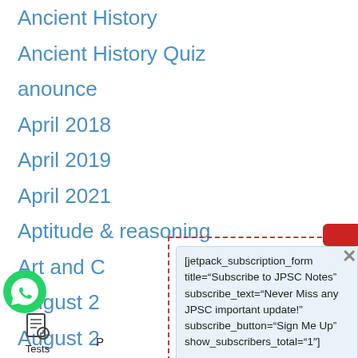Ancient History
Ancient History Quiz
anounce
April 2018
April 2019
April 2021
Aptitude & reasoning
Art and C…
August 2…
August 2…
August 2…
just 2…
[jetpack_subscription_form title="Subscribe to JPSC Notes" subscribe_text="Never Miss any JPSC important update!" subscribe_button="Sign Me Up" show_subscribers_total="1"]